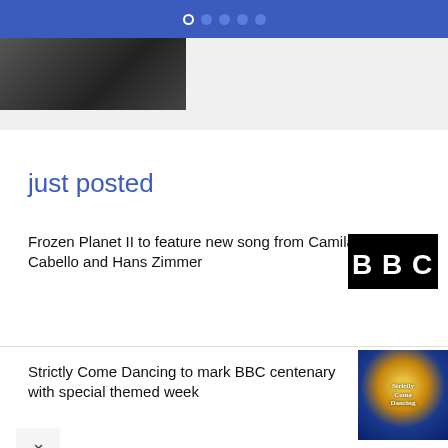Navigation dots / carousel indicator
[Figure (photo): Thumbnail photo of two people, partially cropped at top of page]
just posted
Frozen Planet II to feature new song from Camila Cabello and Hans Zimmer
[Figure (logo): BBC logo — black squares with white letters B B C]
Strictly Come Dancing to mark BBC centenary with special themed week
[Figure (logo): Strictly Come Dancing logo — gold glitter ball on blue sparkle background]